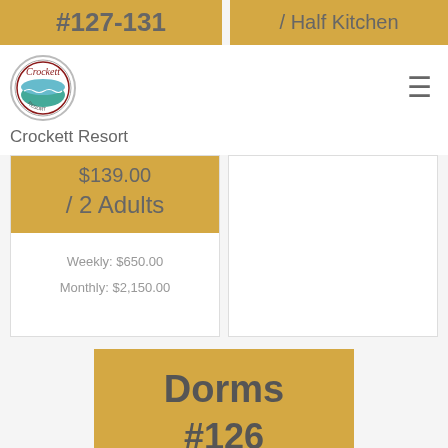#127-131
/ Half Kitchen
[Figure (logo): Crockett Resort circular logo with script lettering]
Crockett Resort
$139.00
/ 2 Adults
Weekly: $650.00
Monthly: $2,150.00
Dorms
#126